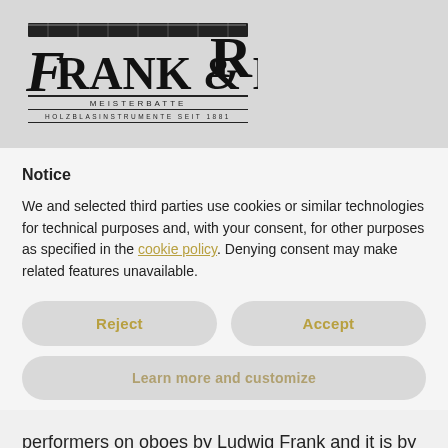[Figure (logo): Frank & Meyer Meisterbattie Holzblasinstrumente seit 1881 logo with decorative oboe instrument illustration]
Notice
We and selected third parties use cookies or similar technologies for technical purposes and, with your consent, for other purposes as specified in the cookie policy. Denying consent may make related features unavailable.
Reject
Accept
Learn more and customize
performers on oboes by Ludwig Frank and it is by intensive contact with these, that this quality is continually being improved. Cooperation with the